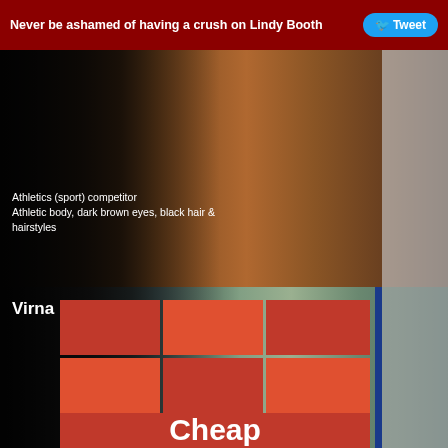Never be ashamed of having a crush on Lindy Booth  Tweet
[Figure (photo): Athletics (sport) competitor photo with dark background and warm tones]
Athletics (sport) competitor
Athletic body, dark brown eyes, black hair & hairstyles
[Figure (photo): Virna Lisi actress photo with teal/green background]
Virna Lisi
Actress
Voluptuous body, blue eyes, blonde hair & hairstyles
[Figure (illustration): Cheap advertisement with red checkerboard grid and white text reading Cheap]